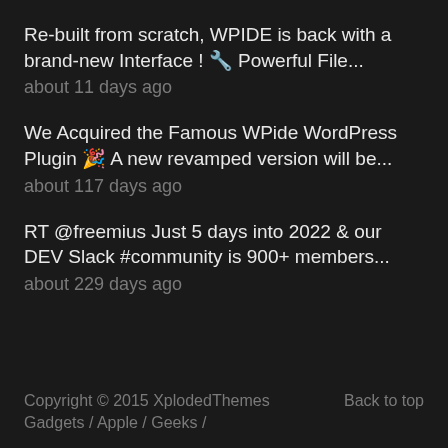Re-built from scratch, WPIDE is back with a brand-new Interface ! 🔧 Powerful File...
about 11 days ago
We Acquired the Famous WPide WordPress Plugin 🎉 A new revamped version will be...
about 117 days ago
RT @freemius Just 5 days into 2022 & our DEV Slack #community is 900+ members...
about 229 days ago
Copyright © 2015 XplodedThemes    Back to top
Gadgets / Apple / Geeks /